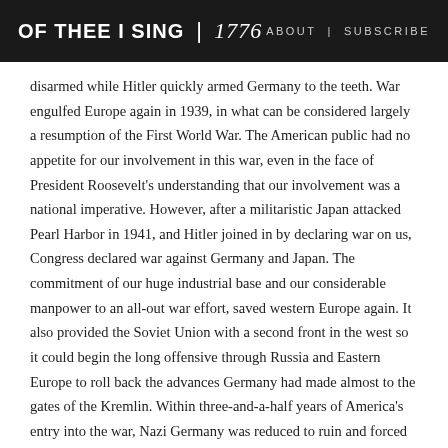OF THEE I SING | 1776   ABOUT | SUBSCRIBE
disarmed while Hitler quickly armed Germany to the teeth. War engulfed Europe again in 1939, in what can be considered largely a resumption of the First World War. The American public had no appetite for our involvement in this war, even in the face of President Roosevelt's understanding that our involvement was a national imperative. However, after a militaristic Japan attacked Pearl Harbor in 1941, and Hitler joined in by declaring war on us, Congress declared war against Germany and Japan. The commitment of our huge industrial base and our considerable manpower to an all-out war effort, saved western Europe again. It also provided the Soviet Union with a second front in the west so it could begin the long offensive through Russia and Eastern Europe to roll back the advances Germany had made almost to the gates of the Kremlin. Within three-and-a-half years of America's entry into the war, Nazi Germany was reduced to ruin and forced to sue for peace.